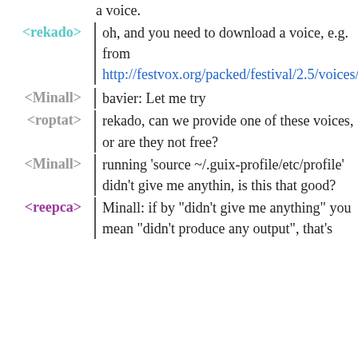a voice.
<rekado> oh, and you need to download a voice, e.g. from http://festvox.org/packed/festival/2.5/voices/
<Minall> bavier: Let me try
<roptat> rekado, can we provide one of these voices, or are they not free?
<Minall> running 'source ~/.guix-profile/etc/profile' didn't give me anythin, is this that good?
<reepca> Minall: if by "didn't give me anything" you mean "didn't produce any output", that's